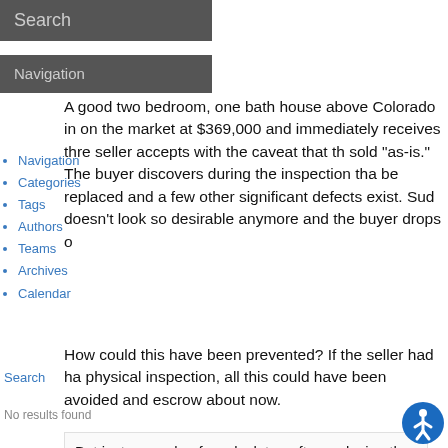Search
Close menu
Menu
A good two bedroom, one bath house above Colorado in on the market at $369,000 and immediately receives thre seller accepts with the caveat that th sold "as-is." The buyer discovers during the inspection tha be replaced and a few other significant defects exist. Sud doesn't look so desirable anymore and the buyer drops o
Navigation
Categories
Tags
Authors
Teams
Archives
Calendar
How could this have been prevented? If the seller had ha physical inspection, all this could have been avoided and escrow about now.
Search
No results found
But just a couple of weeks later, after replacing the roof a house is going back on the market for $399,000.